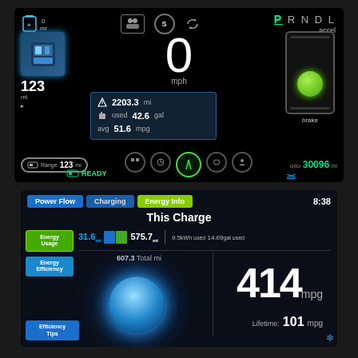[Figure (screenshot): Car instrument cluster display showing speed 0 mph, range 123 mi, trip distance 2203.3 mi, fuel used 42.6 gal, avg 51.6 mpg, odometer 30096, READY status, gear selector P R N D L with P highlighted]
[Figure (screenshot): Energy info screen showing 'This Charge' data: Power Flow, Charging, Energy Info tabs, time 8:38, 31.6 mi EV + 575.7 mi gas, 9.5 kWh used, 14.69 gal used, 607.3 Total mi, 414 mpg this charge, Lifetime 101 mpg, glowing blue ball graphic, Efficiency Tips button]